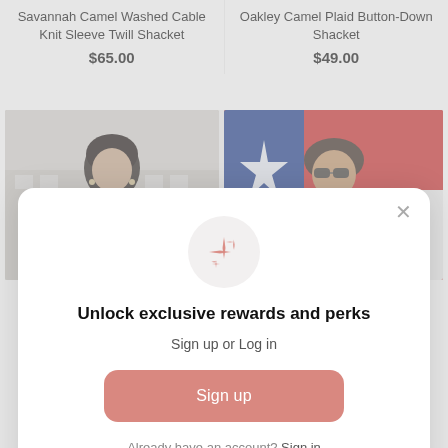Savannah Camel Washed Cable Knit Sleeve Twill Shacket
$65.00
Oakley Camel Plaid Button-Down Shacket
$49.00
[Figure (photo): Woman with dark wavy hair wearing a plaid shacket, standing in front of a building]
[Figure (photo): Woman wearing sunglasses in front of a Texas flag]
Unlock exclusive rewards and perks
Sign up or Log in
Sign up
Already have an account? Sign in
$75.00
$59.00